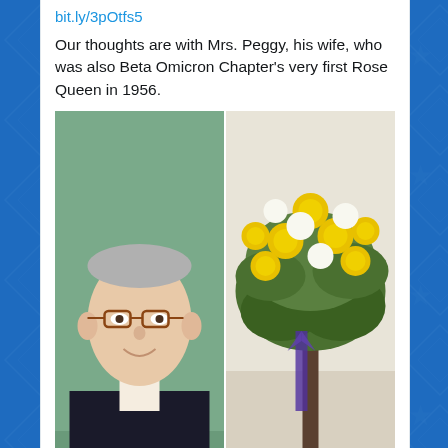bit.ly/3pOtfs5
Our thoughts are with Mrs. Peggy, his wife, who was also Beta Omicron Chapter's very first Rose Queen in 1956.
[Figure (photo): Left: headshot of an older man with glasses and gray hair wearing a dark suit; text overlay at bottom reads 'A PHI'. Right: floral arrangement with yellow roses, white lilies, and greenery with a purple ribbon.]
1 (like count)
Pi Kappa Phi - NSU @pikappNSU · Aug 17
Replying to @pikappNSU
In case you missed it, Beta Omicron